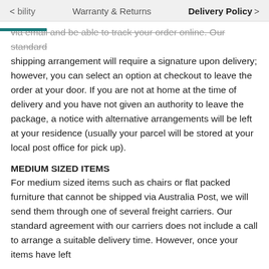< bility   Warranty & Returns   Delivery Policy >
via email and be able to track your order online. Our standard shipping arrangement will require a signature upon delivery; however, you can select an option at checkout to leave the order at your door. If you are not at home at the time of delivery and you have not given an authority to leave the package, a notice with alternative arrangements will be left at your residence (usually your parcel will be stored at your local post office for pick up).
MEDIUM SIZED ITEMS
For medium sized items such as chairs or flat packed furniture that cannot be shipped via Australia Post, we will send them through one of several freight carriers. Our standard agreement with our carriers does not include a call to arrange a suitable delivery time. However, once your items have left
[Figure (other): Red circular button with white ring/camera icon]